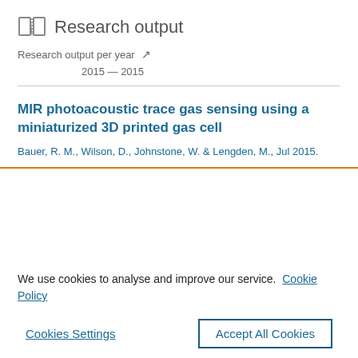Research output
Research output per year
2015 — 2015
MIR photoacoustic trace gas sensing using a miniaturized 3D printed gas cell
Bauer, R. M., Wilson, D., Johnstone, W. & Lengden, M., Jul 2015.
We use cookies to analyse and improve our service. Cookie Policy
Cookies Settings
Accept All Cookies